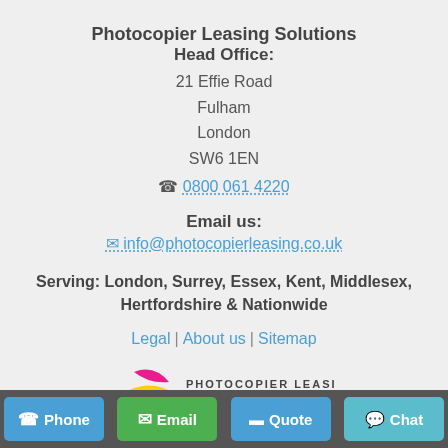Photocopoier Leasing Solutions
Head Office:
21 Effie Road
Fulham
London
SW6 1EN
0800 061 4220
Email us:
info@photocopierleasing.co.uk
Serving: London, Surrey, Essex, Kent, Middlesex, Hertfordshire & Nationwide
Legal | About us | Sitemap
[Figure (logo): Photocopier Leasing Solutions logo with cyan, magenta, yellow colour swooshes and company name in dark text]
Phone | Email | Quote | Chat